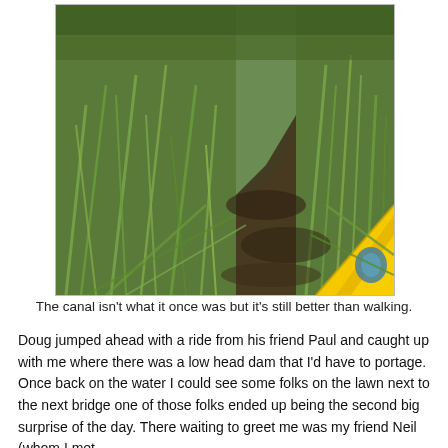[Figure (photo): View from a kayak navigating a narrow, overgrown canal or waterway. Tall green reed grass lines both sides of the dark water channel. The yellow bow of a kayak is visible in the lower right corner. Trees are visible in the background.]
The canal isn't what it once was but it's still better than walking.
Doug jumped ahead with a ride from his friend Paul and caught up with me where there was a low head dam that I'd have to portage. Once back on the water I could see some folks on the lawn next to the next bridge one of those folks ended up being the second big surprise of the day. There waiting to greet me was my friend Neil (whom I met